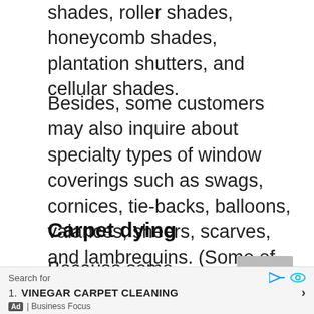shades, roller shades, honeycomb shades, plantation shutters, and cellular shades.
Besides, some customers may also inquire about specialty types of window coverings such as swags, cornices, tie-backs, balloons, valances, sheers, scarves, and lambrequins. (Some of these may require special training and/or special equipment to clean).
Carpet dying
Because some customers may want to change the look of a room without
[Figure (other): Advertisement bar at bottom: Search for VINEGAR CARPET CLEANING, Business Focus ad]